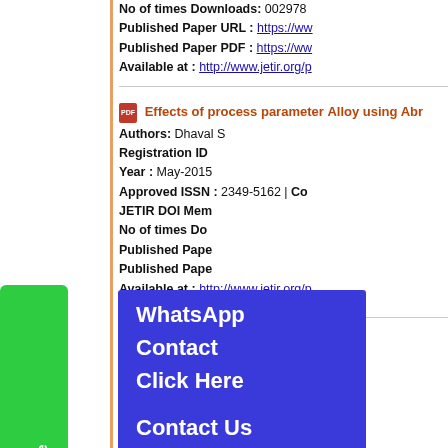No of times Downloads: 002978
Published Paper URL : https://www...
Published Paper PDF : https://www...
Available at : http://www.jetir.org/p
Effects of process parameter... Alloy using Abr...
Authors: Dhaval S...
Registration ID ...
Year : May-2015
Approved ISSN : 2349-5162 | Co...
JETIR DOI Mem...
No of times Do...
Published Pape...
Published Pape...
Available at : http://www.jetir.org/p
[Figure (screenshot): WhatsApp Contact Click Here overlay in blue, and Contact Us Click Here overlay in blue]
Behavior of Recycled Coarse... microsilica and flyash
Authors: BHATT RUSHABH, YOGESH...
Registration ID : 150499 | Public...